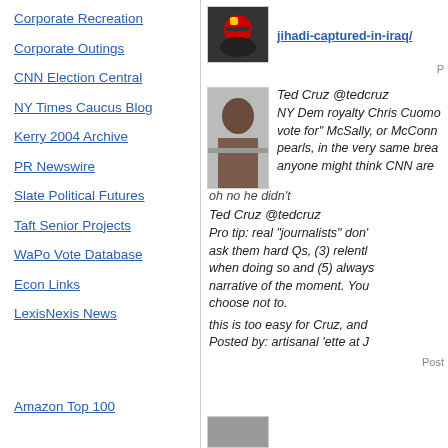Corporate Recreation
Corporate Outings
CNN Election Central
NY Times Caucus Blog
Kerry 2004 Archive
PR Newswire
Slate Political Futures
Taft Senior Projects
WaPo Vote Database
Econ Links
LexisNexis News
Amazon Top 100
jihadi-captured-in-iraq/
P
Ted Cruz @tedcruz
NY Dem royalty Chris Cuomo... vote for" McSally, or McConn... pearls, in the very same brea... anyone might think CNN are
oh no he didn't
Ted Cruz @tedcruz
Pro tip: real "journalists" don'... ask them hard Qs, (3) relentl... when doing so and (5) always... narrative of the moment. You... choose not to.
this is too easy for Cruz, and
Posted by: artisanal 'ette at J
Post